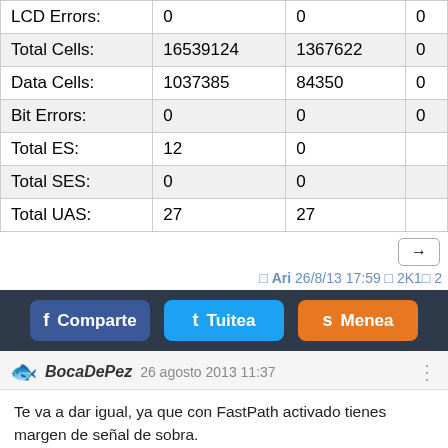|  |  |  |  |
| --- | --- | --- | --- |
| LCD Errors: | 0 | 0 | 0 |
| Total Cells: | 16539124 | 1367622 | 0 |
| Data Cells: | 1037385 | 84350 | 0 |
| Bit Errors: | 0 | 0 | 0 |
| Total ES: | 12 | 0 |  |
| Total SES: | 0 | 0 |  |
| Total UAS: | 27 | 27 |  |
→
Ari 26/8/13 17:59 2K1 2
Comparte  Tuitea  Menea
BocaDePez 26 agosto 2013 11:37
Te va a dar igual, ya que con FastPath activado tienes margen de señal de sobra.

No vas a poder mejorar el rendimiento, ya que te limitan la velocidad en la central al oscoger eso perfil.